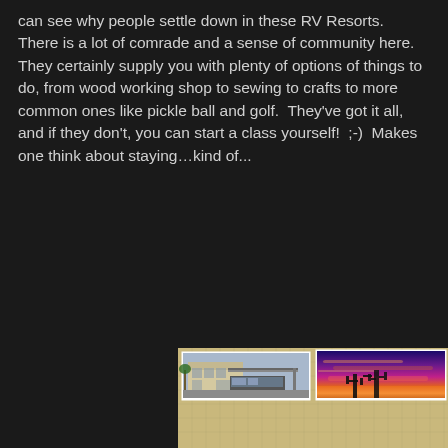can see why people settle down in these RV Resorts.  There is a lot of comrade and a sense of community here.  They certainly supply you with plenty of options of things to do, from wood working shop to sewing to crafts to more common ones like pickle ball and golf.  They've got it all, and if they don't, you can start a class yourself!  ;-)  Makes one think about staying…kind of...
[Figure (photo): A collage of four photographs arranged on a tan/beige cork-board style background. Top-left photo shows an RV resort building with a large motorhome parked under a carport/awning. Top-right photo shows a vivid sunset with purple, red, and orange sky with saguaro cactus silhouettes. Bottom-left photo (slightly tilted) shows a street view of RV resort homes with cars parked. Bottom-right photo (slightly tilted) shows a white motorhome parked in a garage/carport. A partially visible fifth photo peeks at the bottom.]